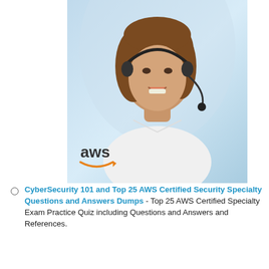[Figure (photo): Woman with headset smiling, AWS logo in lower left corner, light blue background]
CyberSecurity 101 and Top 25 AWS Certified Security Specialty Questions and Answers Dumps - Top 25 AWS Certified Specialty Exam Practice Quiz including Questions and Answers and References.
[Figure (photo): Woman with headset smiling, AWS logo in lower left corner, light blue background (same image repeated)]